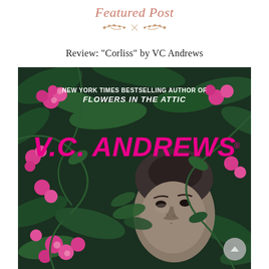Featured Post
Review: "Corliss" by VC Andrews
[Figure (illustration): Book cover of 'Corliss' by V.C. Andrews. Dark green foliage background with pink flowers. Large magenta/pink text 'V.C. ANDREWS' dominates the center. Top text reads 'NEW YORK TIMES BESTSELLING AUTHOR OF FLOWERS IN THE ATTIC'. Lower half shows a young Black girl's face partially obscured by leaves and flowers, rendered in black and white.]